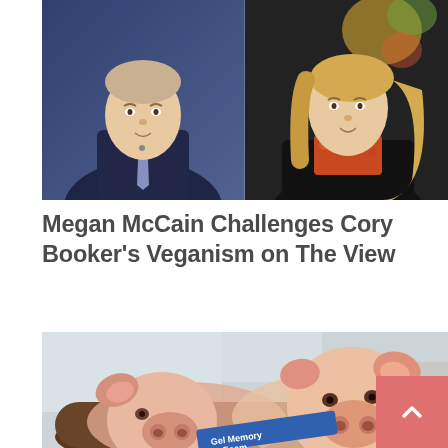[Figure (photo): Split photo of two TV personalities: a man in a dark suit with microphone on the left side, and a woman with blonde hair and orange/floral top on the right side, appearing to be from a television studio setting]
Megan McCain Challenges Cory Booker's Veganism on The View
[Figure (photo): Two pigs lying together in a brown memory foam pet bed with a blue 'Gel Memory Foam' label visible, photographed from above at close range]